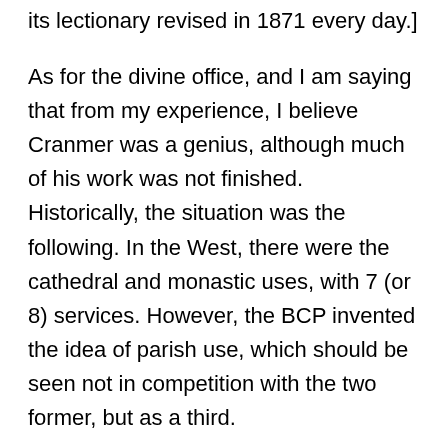its lectionary revised in 1871 every day.]
As for the divine office, and I am saying that from my experience, I believe Cranmer was a genius, although much of his work was not finished. Historically, the situation was the following. In the West, there were the cathedral and monastic uses, with 7 (or 8) services. However, the BCP invented the idea of parish use, which should be seen not in competition with the two former, but as a third.
The breviary is a modern invention. It was first intended for the use of pious lay people, who could not attend the services at the monastery, or in the cathedral, but who would recite, at home, something shorter (hence the name), with